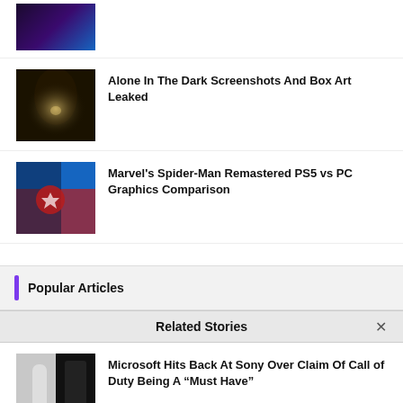[Figure (photo): Partially visible article thumbnail, blue/purple glowing object on dark background]
[Figure (photo): Dark tunnel/corridor screenshot from Alone In The Dark game]
Alone In The Dark Screenshots And Box Art Leaked
[Figure (photo): Spider-Man character in red suit against blue background]
Marvel's Spider-Man Remastered PS5 vs PC Graphics Comparison
Popular Articles
Related Stories
[Figure (photo): PS5 console (white) next to Xbox Series X (black) on light background]
Microsoft Hits Back At Sony Over Claim Of Call of Duty Being A "Must Have"